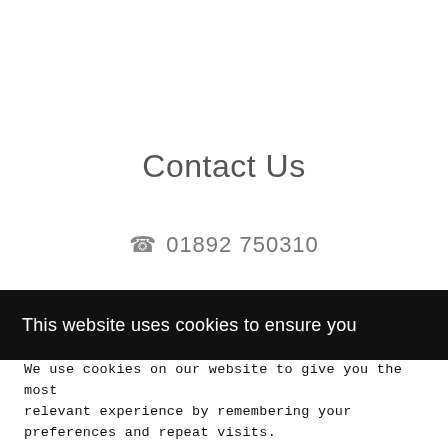Contact Us
📞 01892 750310
This website uses cookies to ensure you
We use cookies on our website to give you the most relevant experience by remembering your preferences and repeat visits.
Read More | Cookie Settings | Accept All